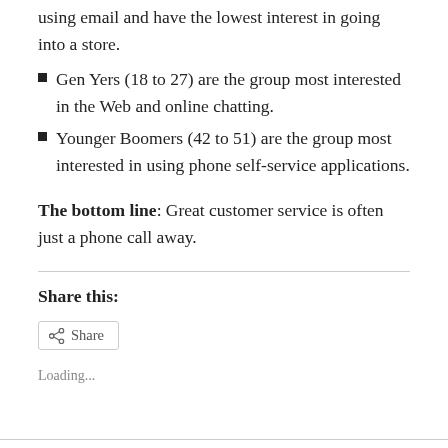using email and have the lowest interest in going into a store.
Gen Yers (18 to 27) are the group most interested in the Web and online chatting.
Younger Boomers (42 to 51) are the group most interested in using phone self-service applications.
The bottom line: Great customer service is often just a phone call away.
Share this:
Share
Loading...